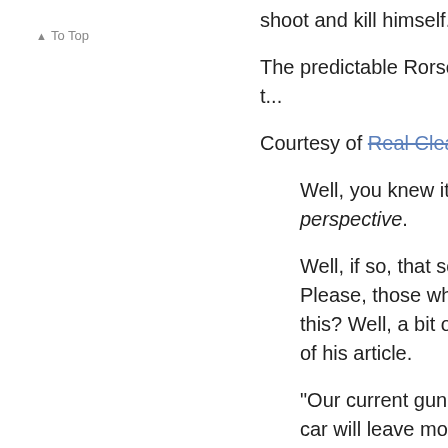▲ To Top
shoot and kill himself.
The predictable Rorschach Te... control; guns rights folks see t...
Courtesy of Real Clear Polities...
Well, you knew it was com... that most mindless of spo... perspective.
Well, if so, that sort of pe... perspective we have supp... Please, those who need t... would seem to have little ... on this? Well, a bit of it co... always agree, but who to... end of his article.
"Our current gun culture,"... the ultimate tragedy and t... car will leave more teena...
"Handguns do not enhan...